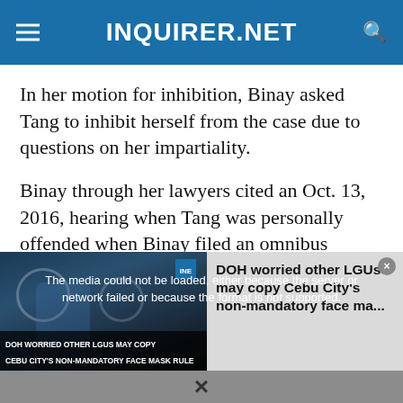INQUIRER.NET
In her motion for inhibition, Binay asked Tang to inhibit herself from the case due to questions on her impartiality.
Binay through her lawyers cited an Oct. 13, 2016, hearing when Tang was personally offended when Binay filed an omnibus motion for a re-raffle of the case to hold separate trials.
[Figure (screenshot): Video player overlay showing a media error message: 'The media could not be loaded, either because the server or network failed or because the format is not supported.' Below is a thumbnail image with caption 'DOH WORRIED OTHER LGUs MAY COPY CEBU CITY'S NON-MANDATORY FACE MASK RULE'. On the right side, text reads 'DOH worried other LGUs may copy Cebu City's non-mandatory face ma...' with a close button (x).]